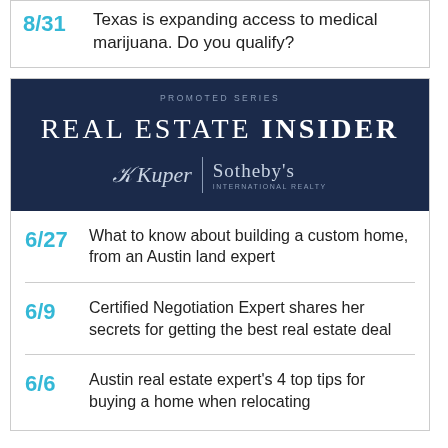8/31 Texas is expanding access to medical marijuana. Do you qualify?
[Figure (logo): Real Estate Insider promoted series banner with Kuper Sotheby's International Realty logo on dark navy background]
6/27 What to know about building a custom home, from an Austin land expert
6/9 Certified Negotiation Expert shares her secrets for getting the best real estate deal
6/6 Austin real estate expert's 4 top tips for buying a home when relocating